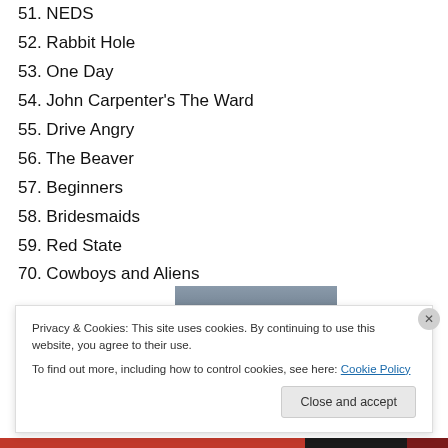51. NEDS
52. Rabbit Hole
53. One Day
54. John Carpenter's The Ward
55. Drive Angry
56. The Beaver
57. Beginners
58. Bridesmaids
59. Red State
70. Cowboys and Aliens
[Figure (photo): Partial photo of a person, dimly lit scene]
Privacy & Cookies: This site uses cookies. By continuing to use this website, you agree to their use. To find out more, including how to control cookies, see here: Cookie Policy
Close and accept